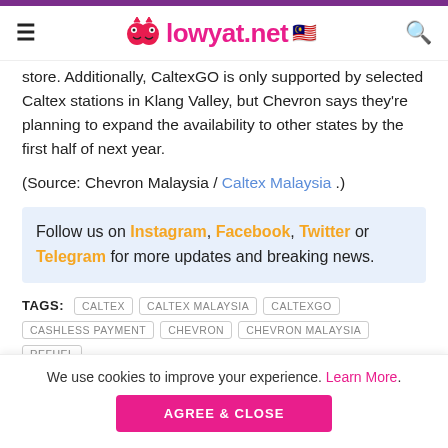lowyat.net
store. Additionally, CaltexGO is only supported by selected Caltex stations in Klang Valley, but Chevron says they're planning to expand the availability to other states by the first half of next year.
(Source: Chevron Malaysia / Caltex Malaysia .)
Follow us on Instagram, Facebook, Twitter or Telegram for more updates and breaking news.
TAGS: CALTEX  CALTEX MALAYSIA  CALTEXGO  CASHLESS PAYMENT  CHEVRON  CHEVRON MALAYSIA  REFUEL
We use cookies to improve your experience. Learn More. AGREE & CLOSE